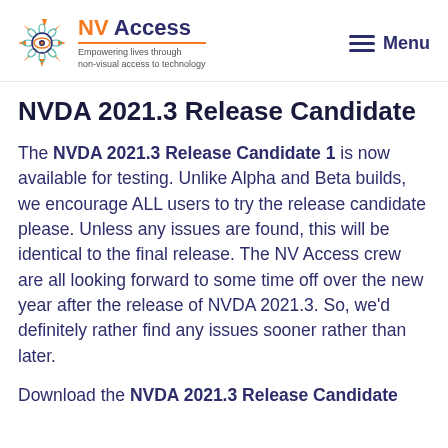NV Access — Empowering lives through non-visual access to technology | Menu
NVDA 2021.3 Release Candidate
The NVDA 2021.3 Release Candidate 1 is now available for testing. Unlike Alpha and Beta builds, we encourage ALL users to try the release candidate please. Unless any issues are found, this will be identical to the final release. The NV Access crew are all looking forward to some time off over the new year after the release of NVDA 2021.3. So, we'd definitely rather find any issues sooner rather than later.
Download the NVDA 2021.3 Release Candidate 1 now